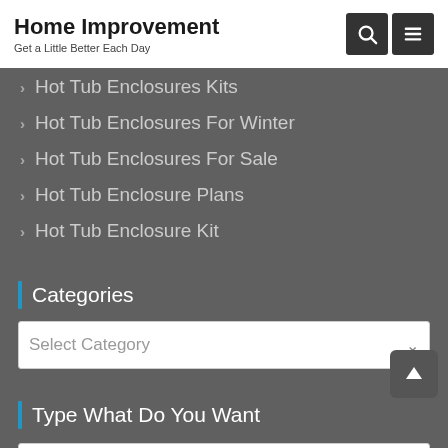Home Improvement
Get a Little Better Each Day
Hot Tub Enclosures Kits
Hot Tub Enclosures For Winter
Hot Tub Enclosures For Sale
Hot Tub Enclosure Plans
Hot Tub Enclosure Kit
Categories
Select Category
Type What Do You Want